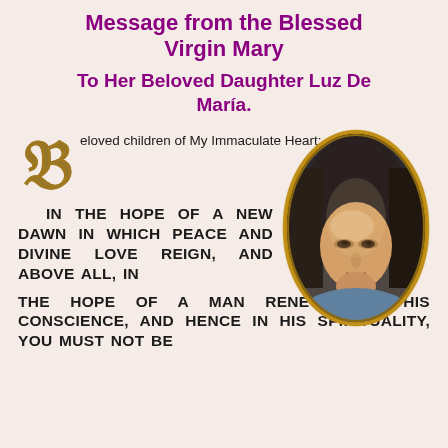Message from the Blessed Virgin Mary
To Her Beloved Daughter Luz De María.
Beloved children of My Immaculate Heart:
IN THE HOPE OF A NEW DAWN IN WHICH PEACE AND DIVINE LOVE REIGN, AND ABOVE ALL, IN THE HOPE OF A MAN RENEWED IN HIS CONSCIENCE, AND HENCE IN HIS SPIRITUALITY, YOU MUST NOT BE
[Figure (illustration): Oval-framed portrait painting of the Blessed Virgin Mary with a golden/brown border, showing a serene woman with dark hair and light complexion.]